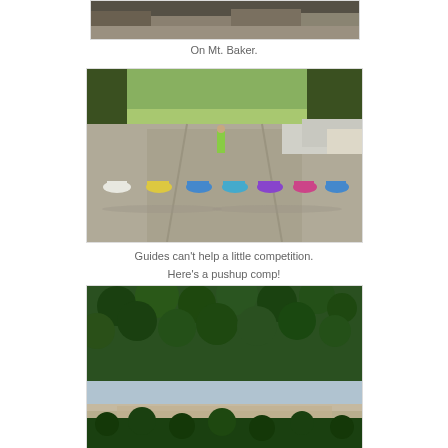[Figure (photo): Top portion of a photo taken on Mt. Baker, showing rocky mountain terrain]
On Mt. Baker.
[Figure (photo): Group of guides doing pushups in a gravel parking lot with cars and trees in background]
Guides can't help a little competition.
Here's a pushup comp!
[Figure (photo): Aerial view of conifer forest with a river and road visible below]